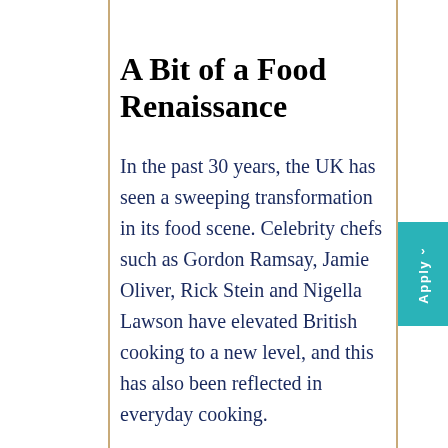A Bit of a Food Renaissance
In the past 30 years, the UK has seen a sweeping transformation in its food scene. Celebrity chefs such as Gordon Ramsay, Jamie Oliver, Rick Stein and Nigella Lawson have elevated British cooking to a new level, and this has also been reflected in everyday cooking.
Furthermore, when it comes to fine dining, a number of UK restaurants,